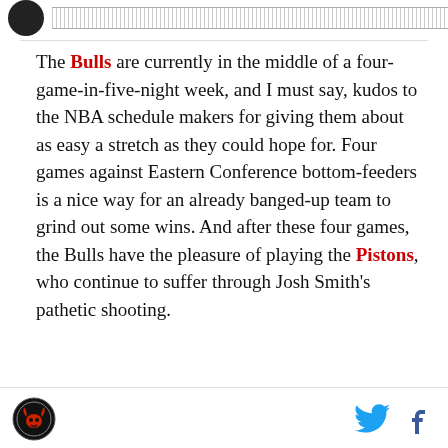[logo] [ruler]
The Bulls are currently in the middle of a four-game-in-five-night week, and I must say, kudos to the NBA schedule makers for giving them about as easy a stretch as they could hope for. Four games against Eastern Conference bottom-feeders is a nice way for an already banged-up team to grind out some wins. And after these four games, the Bulls have the pleasure of playing the Pistons, who continue to suffer through Josh Smith's pathetic shooting.
[footer logo] [twitter icon] [facebook icon]